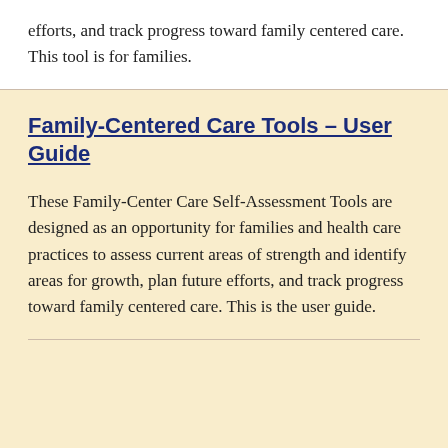efforts, and track progress toward family centered care. This tool is for families.
Family-Centered Care Tools – User Guide
These Family-Center Care Self-Assessment Tools are designed as an opportunity for families and health care practices to assess current areas of strength and identify areas for growth, plan future efforts, and track progress toward family centered care. This is the user guide.